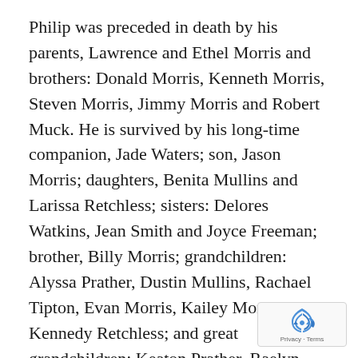Philip was preceded in death by his parents, Lawrence and Ethel Morris and brothers: Donald Morris, Kenneth Morris, Steven Morris, Jimmy Morris and Robert Muck. He is survived by his long-time companion, Jade Waters; son, Jason Morris; daughters, Benita Mullins and Larissa Retchless; sisters: Delores Watkins, Jean Smith and Joyce Freeman; brother, Billy Morris; grandchildren: Alyssa Prather, Dustin Mullins, Rachael Tipton, Evan Morris, Kailey Morris and Kennedy Retchless; and great grandchildren: Keaton Prather, Raelyn Prather, Greyson Prather, Clayton Tipton,